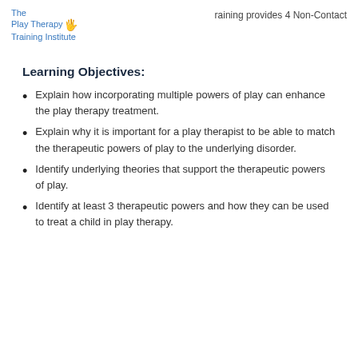raining provides 4 Non-Contact
The Play Therapy Training Institute
Learning Objectives:
Explain how incorporating multiple powers of play can enhance the play therapy treatment.
Explain why it is important for a play therapist to be able to match the therapeutic powers of play to the underlying disorder.
Identify underlying theories that support the therapeutic powers of play.
Identify at least 3 therapeutic powers and how they can be used to treat a child in play therapy.